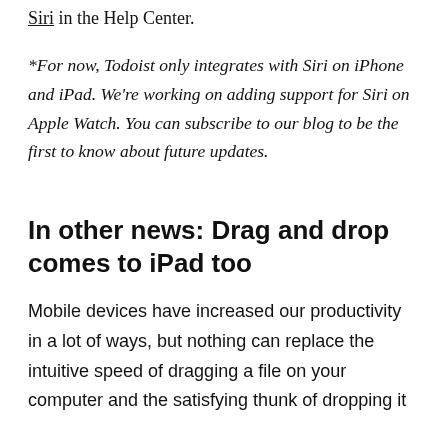Siri in the Help Center.
*For now, Todoist only integrates with Siri on iPhone and iPad. We're working on adding support for Siri on Apple Watch. You can subscribe to our blog to be the first to know about future updates.
In other news: Drag and drop comes to iPad too
Mobile devices have increased our productivity in a lot of ways, but nothing can replace the intuitive speed of dragging a file on your computer and the satisfying thunk of dropping it